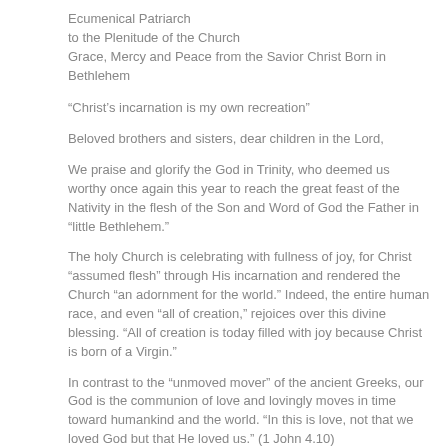Ecumenical Patriarch
to the Plenitude of the Church
Grace, Mercy and Peace from the Savior Christ Born in Bethlehem
“Christ’s incarnation is my own recreation”
Beloved brothers and sisters, dear children in the Lord,
We praise and glorify the God in Trinity, who deemed us worthy once again this year to reach the great feast of the Nativity in the flesh of the Son and Word of God the Father in “little Bethlehem.”
The holy Church is celebrating with fullness of joy, for Christ “assumed flesh” through His incarnation and rendered the Church “an adornment for the world.” Indeed, the entire human race, and even “all of creation,” rejoices over this divine blessing. “All of creation is today filled with joy because Christ is born of a Virgin.”
In contrast to the “unmoved mover” of the ancient Greeks, our God is the communion of love and lovingly moves in time toward humankind and the world. “In this is love, not that we loved God but that He loved us.” (1 John 4.10)